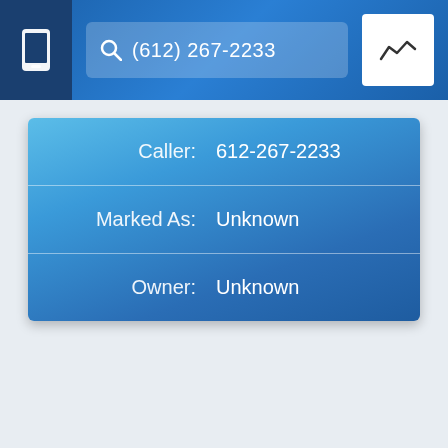[Figure (screenshot): Mobile app top navigation bar with phone icon button on left, search bar showing '(612) 267-2233', and stats/analytics button on right]
| Caller: | 612-267-2233 |
| Marked As: | Unknown |
| Owner: | Unknown |